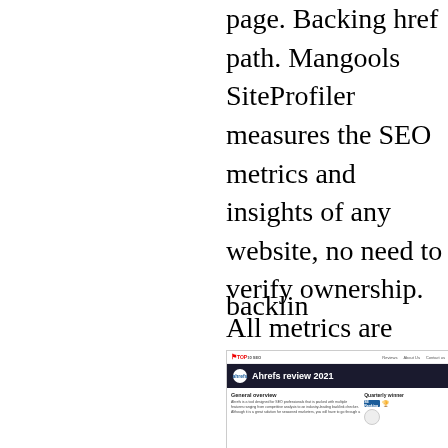page. Backing href path. Mangools SiteProfiler measures the SEO metrics and insights of any website, no need to verify ownership. All metrics are displayed on one dashboard for easy access. Pricing is based on usage. Higher plans allow for more 24-hour lookups, searches, suggestions, and simultaneous logins. The image above shows the annual pricing but monthly pricing is also available. Additionally, Information about Mangools. 10-day free trial.
backlin
[Figure (screenshot): Screenshot of a website showing an Ahrefs review 2021 page from TOP10SEO, with a dark navy hero section featuring the Ahrefs logo and title, a General overview section with descriptive text, and a Quarterly winner section showing SE Ranking with a trophy badge.]